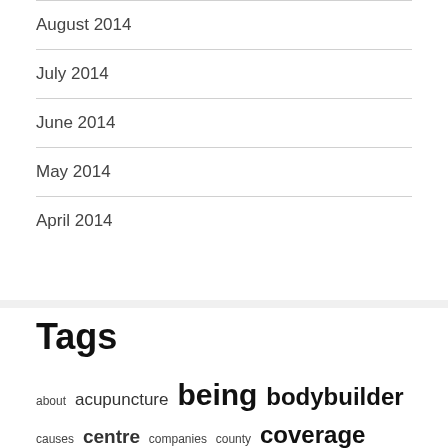August 2014
July 2014
June 2014
May 2014
April 2014
Tags
about acupuncture being bodybuilder causes centre companies county coverage department depression division education female feminine fitness health